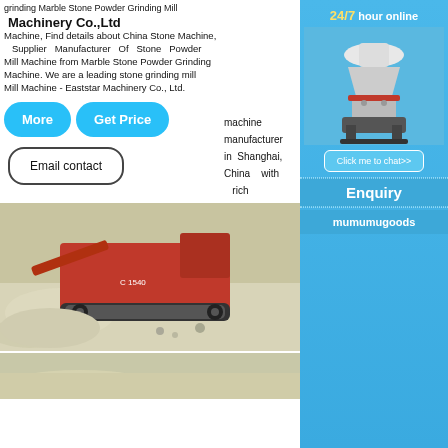grinding Marble Stone Powder Grinding Mill Machinery Co.,Ltd Machine, Find details about China Stone Machine, Supplier Manufacturer Of Stone Powder Mill Machine from Marble Stone Powder Grinding Machine. We are a leading stone grinding mill Mill Machine - Eaststar Machinery Co., Ltd.
machine manufacturer in Shanghai, China with rich
[Figure (screenshot): Two blue rounded buttons labeled More and Get Price, and an outlined button labeled Email contact]
[Figure (photo): Red mobile crushing/grinding machine on a gravel/stone quarry site]
[Figure (screenshot): Sidebar with 24/7 hour online text, image of cone crusher machine, Click me to chat>> button, Enquiry section, and mumumugoods text]
[Figure (photo): Bottom partial image of stone/gravel site]